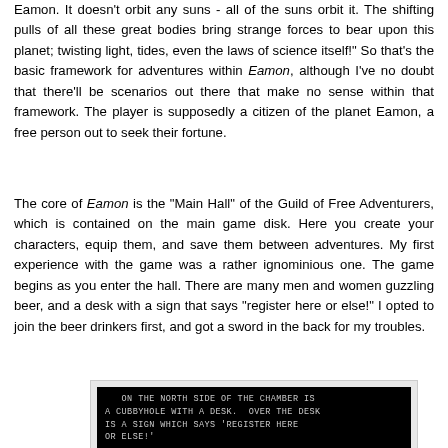Eamon. It doesn't orbit any suns - all of the suns orbit it. The shifting pulls of all these great bodies bring strange forces to bear upon this planet; twisting light, tides, even the laws of science itself!" So that's the basic framework for adventures within Eamon, although I've no doubt that there'll be scenarios out there that make no sense within that framework. The player is supposedly a citizen of the planet Eamon, a free person out to seek their fortune.
The core of Eamon is the "Main Hall" of the Guild of Free Adventurers, which is contained on the main game disk. Here you create your characters, equip them, and save them between adventures. My first experience with the game was a rather ignominious one. The game begins as you enter the hall. There are many men and women guzzling beer, and a desk with a sign that says "register here or else!" I opted to join the beer drinkers first, and got a sword in the back for my troubles.
[Figure (screenshot): Terminal screenshot showing black background with grey monospace text reading: ON THE NORTH SIDE OF THE CHAMBER IS A CUBBYHOLE WITH A DESK. OVER THE DESK IS A SIGN WHICH SAYS 'REGISTER HERE OR ELSE!']